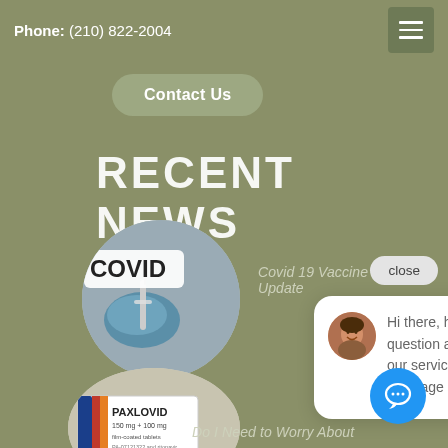Phone: (210) 822-2004
Contact Us
RECENT NEWS
[Figure (photo): Circular photo of a COVID vaccine being administered with blue gloved hands holding a syringe, with 'COVID' text visible]
Covid 19 Vaccine Update
close
[Figure (photo): Chat popup with avatar of a woman smiling, containing text: Hi there, have a question about any of our services? Start your message here...]
[Figure (photo): Circular photo showing PAXLOVID 150mg+100mg film-coated tablets medication box]
Do I Need to Worry About